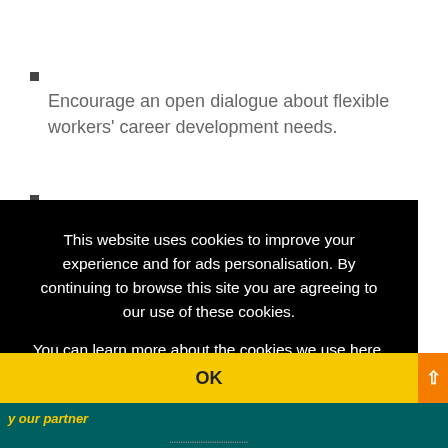Encourage an open dialogue about flexible workers' career development needs.
This website uses cookies to improve your experience and for ads personalisation. By continuing to browse this site you are agreeing to our use of these cookies. You can learn more about the cookies we use here.